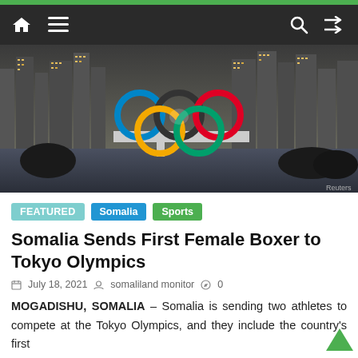Navigation bar with home, menu, search, and shuffle icons
[Figure (photo): Night cityscape of Tokyo with Olympic rings monument in the foreground, city skyscrapers illuminated in background, Reuters watermark]
FEATURED  Somalia  Sports
Somalia Sends First Female Boxer to Tokyo Olympics
July 18, 2021  somaliland monitor  0
MOGADISHU, SOMALIA – Somalia is sending two athletes to compete at the Tokyo Olympics, and they include the country's first